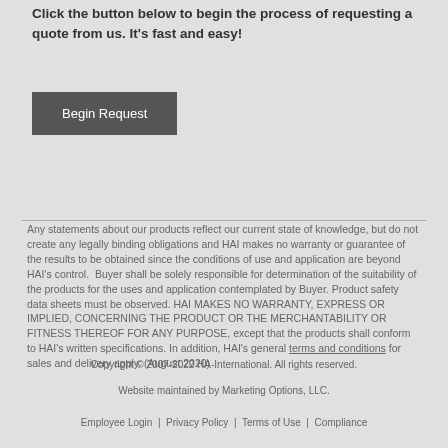Click the button below to begin the process of requesting a quote from us. It's fast and easy!
[Figure (other): Dark gray 'Begin Request' button]
Any statements about our products reflect our current state of knowledge, but do not create any legally binding obligations and HAI makes no warranty or guarantee of the results to be obtained since the conditions of use and application are beyond HAI's control.  Buyer shall be solely responsible for determination of the suitability of the products for the uses and application contemplated by Buyer. Product safety data sheets must be observed. HAI MAKES NO WARRANTY, EXPRESS OR IMPLIED, CONCERNING THE PRODUCT OR THE MERCHANTABILITY OR FITNESS THEREOF FOR ANY PURPOSE, except that the products shall conform to HAI's written specifications. In addition, HAI's general terms and conditions for sales and delivery apply. (August 2020)
Copyright © 2007-2022 HA-International. All rights reserved.
Website maintained by Marketing Options, LLC.
Employee Login | Privacy Policy | Terms of Use | Compliance